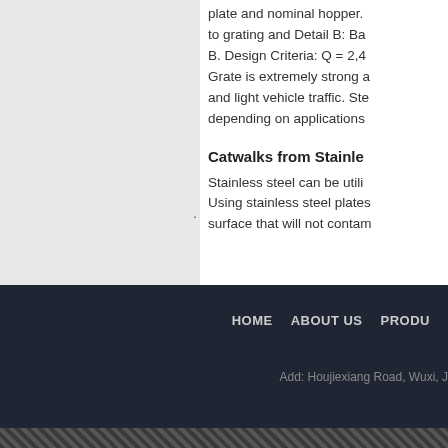plate and nominal hopper. to grating and Detail B: Ba B. Design Criteria: Q = 2,4 Grate is extremely strong a and light vehicle traffic. Ste depending on applications
Catwalks from Stainle
Stainless steel can be utili Using stainless steel plates surface that will not contam
HOME    ABOUT US    PRODU
Add: Houjiexiang Road, Wuxi, J